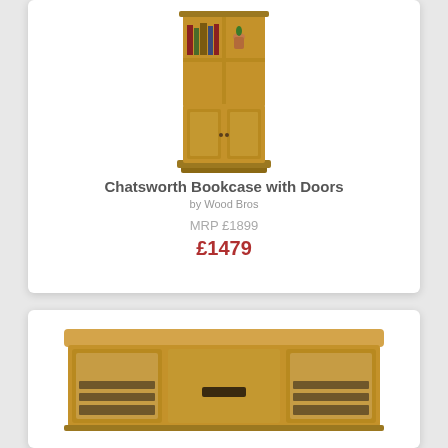[Figure (photo): Chatsworth Bookcase with Doors - a tall wooden bookcase with open shelves on top and cabinet doors on the bottom, in warm oak finish]
Chatsworth Bookcase with Doors
by Wood Bros
MRP £1899
£1479
[Figure (photo): A wide wooden TV cabinet/media unit in oak finish with two glazed doors and a central section, traditional style]